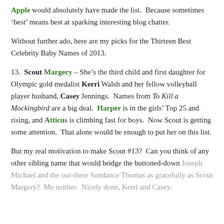Apple would absolutely have made the list. Because sometimes ‘best’ means best at sparking interesting blog chatter.
Without further ado, here are my picks for the Thirteen Best Celebrity Baby Names of 2013.
13. Scout Margery – She’s the third child and first daughter for Olympic gold medalist Kerri Walsh and her fellow volleyball player husband, Casey Jennings. Names from To Kill a Mockingbird are a big deal. Harper is in the girls’ Top 25 and rising, and Atticus is climbing fast for boys. Now Scout is getting some attention. That alone would be enough to put her on this list.
But my real motivation to make Scout #13? Can you think of any other sibling name that would bridge the buttoned-down Joseph Michael and the out-there Sundance Thomas as gracefully as Scout Margery? Me neither. Nicely done, Kerri and Casey.